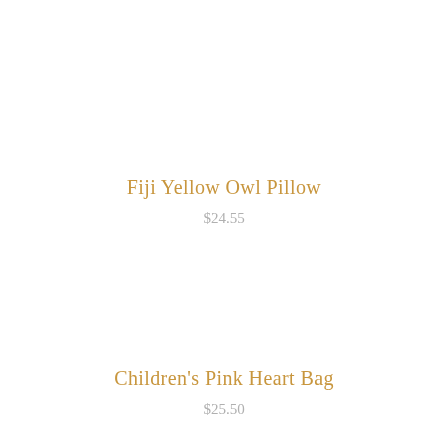Fiji Yellow Owl Pillow
$24.55
Children's Pink Heart Bag
$25.50